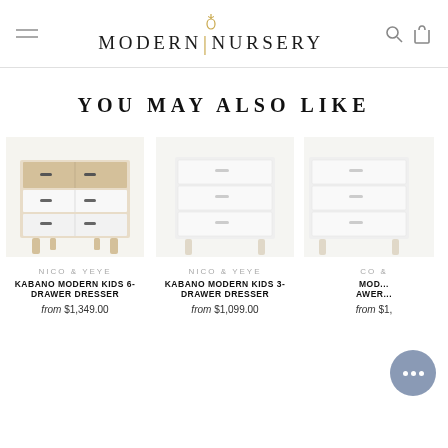MODERN NURSERY
YOU MAY ALSO LIKE
[Figure (photo): Kabano Modern Kids 6-Drawer Dresser - light wood and white dresser with six drawers on tapered legs]
NICO & YEYE
KABANO MODERN KIDS 6-DRAWER DRESSER
from $1,349.00
[Figure (photo): Kabano Modern Kids 3-Drawer Dresser - white dresser with three drawers]
NICO & YEYE
KABANO MODERN KIDS 3-DRAWER DRESSER
from $1,099.00
[Figure (photo): Partially visible third dresser product]
NICO &
MOD...
AWER...
from $1,